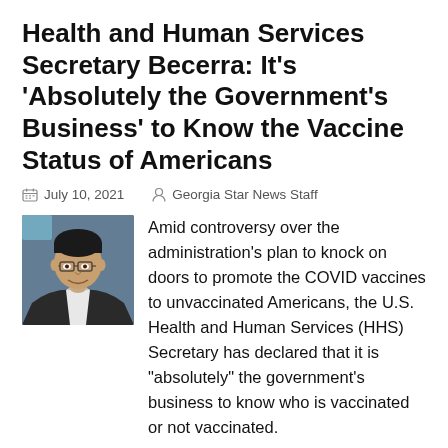Health and Human Services Secretary Becerra: It’s ‘Absolutely the Government’s Business’ to Know the Vaccine Status of Americans
July 10, 2021   Georgia Star News Staff
[Figure (photo): Photo of HHS Secretary Becerra, a man with glasses smiling, wearing a suit.]
Amid controversy over the administration’s plan to knock on doors to promote the COVID vaccines to unvaccinated Americans, the U.S. Health and Human Services (HHS) Secretary has declared that it is “absolutely” the government’s business to know who is vaccinated or not vaccinated.
On Tuesday, White House Press Secretary Jen Psaki said that the goal of the door-to-door outreach was to “get remaining Americans vaccinated by ensuring they have the information they need on how both safe and accessible the vaccine is.”
During a press conference, Joe Biden said this outreach team would “go community by community, neighborhood by